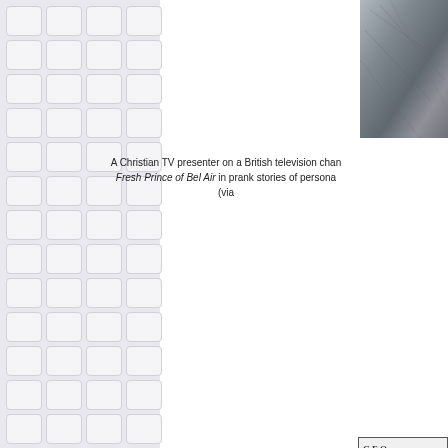[Figure (photo): Partial cropped photo at top right, appears to show a bird or animal with feathers, dark tones, framed with border]
A Christian TV presenter on a British television channel cited the Fresh Prince of Bel Air in prank stories of personal... (via
[Figure (photo): Partial cropped photo in middle right, shows text 'GEO' at top in a header bar, and a person with arms outstretched below]
The Underwire blog at Wired.com takes a detailed loo... (via
[Figure (photo): Partial cropped photo at bottom right, dark background visible]